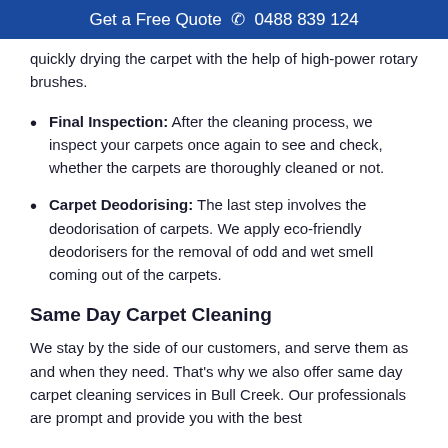Get a Free Quote ☎ 0488 839 124
quickly drying the carpet with the help of high-power rotary brushes.
Final Inspection: After the cleaning process, we inspect your carpets once again to see and check, whether the carpets are thoroughly cleaned or not.
Carpet Deodorising: The last step involves the deodorisation of carpets. We apply eco-friendly deodorisers for the removal of odd and wet smell coming out of the carpets.
Same Day Carpet Cleaning
We stay by the side of our customers, and serve them as and when they need. That’s why we also offer same day carpet cleaning services in Bull Creek. Our professionals are prompt and provide you with the best